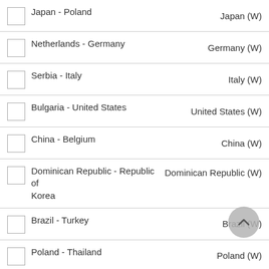Japan - Poland | Japan (W)
Netherlands - Germany | Germany (W)
Serbia - Italy | Italy (W)
Bulgaria - United States | United States (W)
China - Belgium | China (W)
Dominican Republic - Republic of Korea | Dominican Republic (W)
Brazil - Turkey | Brazil (W)
Poland - Thailand | Poland (W)
Canada - Belgium | Canada (W)
Bulgaria - Japan | Japan (W)
Serbia - Republic of Korea | Serbia (W)